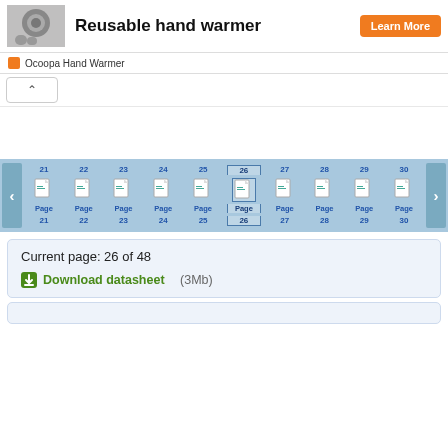[Figure (screenshot): Product thumbnail of reusable hand warmer held in hand, grayscale/color image]
Reusable hand warmer
Learn More
Ocoopa Hand Warmer
[Figure (screenshot): Web page navigator showing page thumbnails numbered 21 through 30, with page 26 highlighted/selected]
Current page: 26 of 48
Download datasheet (3Mb)